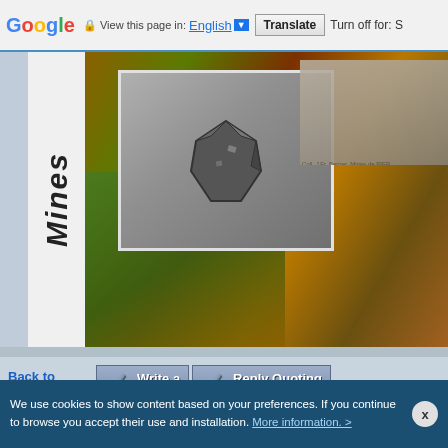Google  View this page in: English [▼]  Translate  Turn off for: S
[Figure (photo): Mines banner with mineral/crystal close-up photograph and historical black-and-white mine photograph on colorful mineral background]
Back to top
Write a REPLY
Reply Quoting this Message
Posted: Jul 11, 2014 03:09   Post subject: Re: news from les Editions du Piat
Julien
Les minéraux de Sainte-Marie-aux-Mines
Joined: 11
We use cookies to show content based on your preferences. If you continue to browse you accept their use and installation.  More information. >